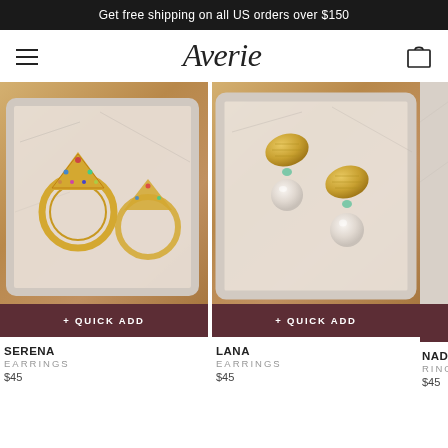Get free shipping on all US orders over $150
Averie
[Figure (photo): Gold multicolor gemstone hoop earrings on a white marble tray with wooden background]
[Figure (photo): Gold hammered shell and pearl drop earrings with turquoise stone on a white marble tray]
[Figure (photo): Partial view of a third jewelry item on marble tray - Nadia ring set]
+ QUICK ADD
+ QUICK ADD
SERENA
EARRINGS
$45
LANA
EARRINGS
$45
NADIA
RING SE
$45